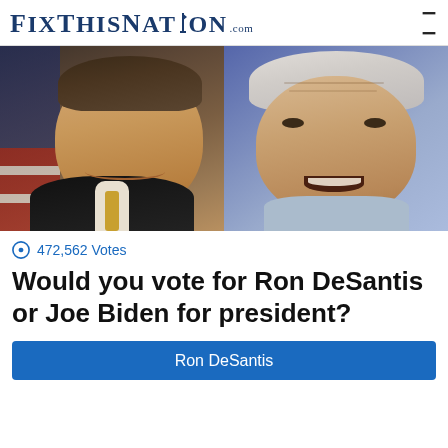FixThisNation.com
[Figure (photo): Side-by-side photos of Ron DeSantis (left, in suit with American flag background) and Joe Biden (right, on blue background)]
472,562 Votes
Would you vote for Ron DeSantis or Joe Biden for president?
Ron DeSantis